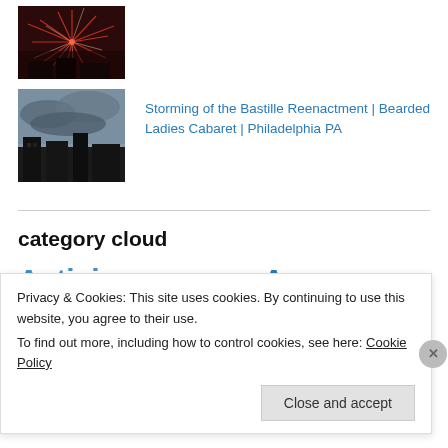[Figure (photo): Fireworks burst photo, reddish tones]
[Figure (photo): Stormy sky with dark buildings silhouette]
Storming of the Bastille Reenactment | Bearded Ladies Cabaret | Philadelphia PA
category cloud
Activism   Awareness
Privacy & Cookies: This site uses cookies. By continuing to use this website, you agree to their use.
To find out more, including how to control cookies, see here: Cookie Policy
Close and accept